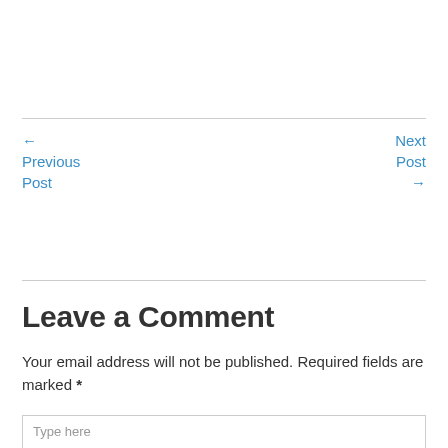← Previous Post
Next Post →
Leave a Comment
Your email address will not be published. Required fields are marked *
Type here…